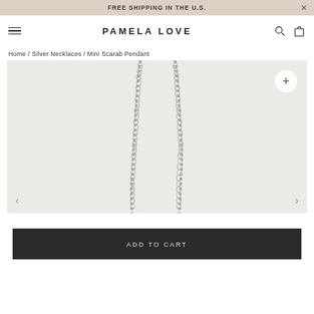FREE SHIPPING IN THE U.S.
PAMELA LOVE
Home / Silver Necklaces / Mini Scarab Pendant
[Figure (photo): Close-up product photograph of a silver chain necklace on a light grey/white background, showing two parallel strands of a fine rope/link chain meeting at the bottom center of the frame. A circular zoom (+) button appears in the top right. Left and right navigation arrows appear at the bottom.]
ADD TO CART